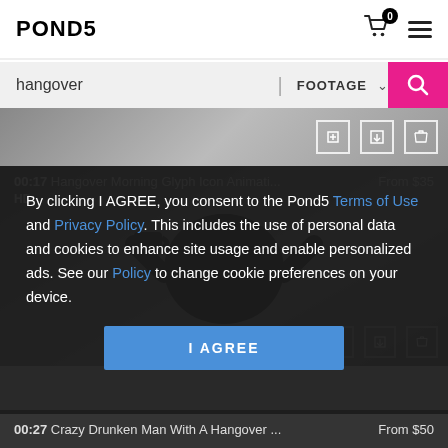POND5
hangover  FOOTAGE
[Figure (screenshot): Partial top of a video result card showing icons on dark gradient background]
00:17  Hangover Morning Glyph Icon Animati...  From $35  HD
[Figure (illustration): Dark cartoon illustration of a hungover figure with a drink]
By clicking I AGREE, you consent to the Pond5 Terms of Use and Privacy Policy. This includes the use of personal data and cookies to enhance site usage and enable personalized ads. See our Policy to change cookie preferences on your device.
I AGREE
00:27  Crazy Drunken Man With A Hangover ...  From $50